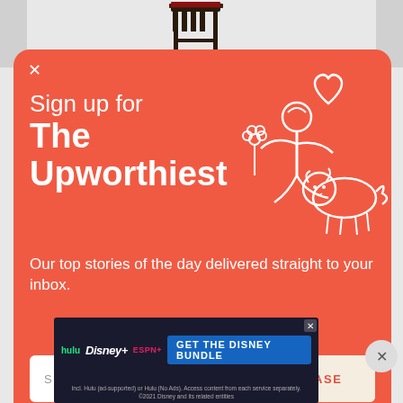[Figure (screenshot): Top portion of a webpage showing a product image (dark stool/chair) partially visible at top]
[Figure (illustration): White line illustration on orange background showing a person riding a dog/animal while holding flowers, with a heart above]
Sign up for The Upworthiest
Our top stories of the day delivered straight to your inbox.
SIGN ME UP   YES PLEASE
[Figure (screenshot): Hulu Disney+ ESPN+ advertisement banner: GET THE DISNEY BUNDLE. Incl. Hulu (ad-supported) or Hulu (No Ads). Access content from each service separately. ©2021 Disney and its related entities]